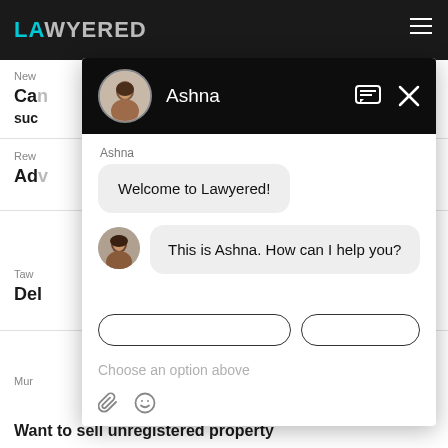[Figure (screenshot): Lawyered website with chat popup showing Ashna greeting user]
Ashna
Welcome to Lawyered!
This is Ashna. How can I help you?
Choose an option above
Want to sell unregistered property